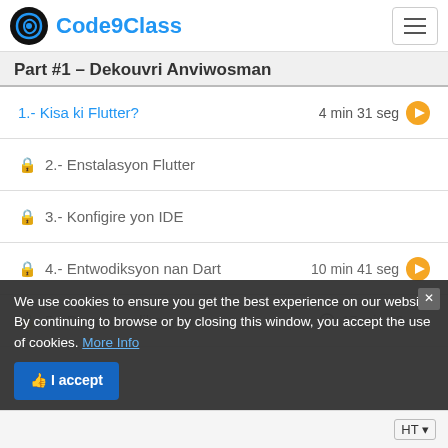Code9Class
Part #1 – Dekouvri Anviwosman
1.- Kisa ki Flutter? 4 min 31 seg
2.- Enstalasyon Flutter
3.- Konfigire yon IDE
4.- Entwodiksyon nan Dart 10 min 41 seg
5.- Premye aplikasyon w 17 min 33 seg
We use cookies to ensure you get the best experience on our website. By continuing to browse or by closing this window, you accept the use of cookies. More Info
I accept